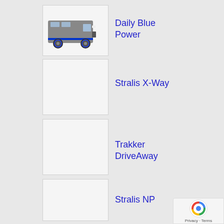[Figure (photo): IVECO Daily Blue Power van, grey commercial vehicle with blue accents]
Daily Blue Power
[Figure (photo): Empty image placeholder for Stralis X-Way]
Stralis X-Way
[Figure (photo): Empty image placeholder for Trakker DriveAway]
Trakker DriveAway
[Figure (photo): Empty image placeholder for Stralis NP]
Stralis NP